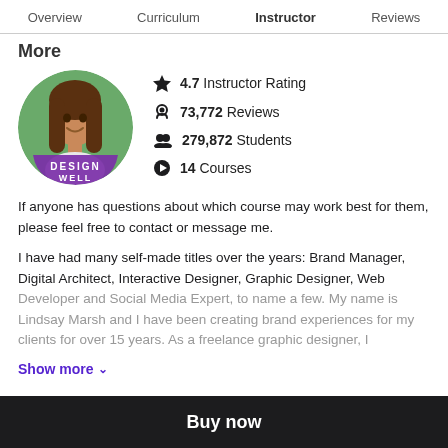Overview  Curriculum  Instructor  Reviews
More
[Figure (photo): Circular profile photo of instructor (woman with long dark hair, smiling) with a purple 'Design Well' badge overlay at the bottom]
4.7 Instructor Rating
73,772 Reviews
279,872 Students
14 Courses
If anyone has questions about which course may work best for them, please feel free to contact or message me.
I have had many self-made titles over the years: Brand Manager, Digital Architect, Interactive Designer, Graphic Designer, Web Developer and Social Media Expert, to name a few. My name is Lindsay Marsh and I have been creating brand experiences for my clients for over 15 years. As a freelance graphic designer, I
Show more ∨